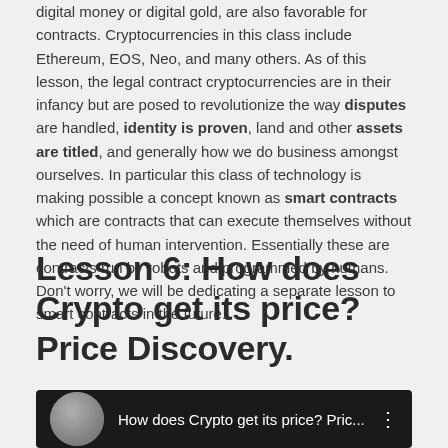digital money or digital gold, are also favorable for contracts. Cryptocurrencies in this class include Ethereum, EOS, Neo, and many others. As of this lesson, the legal contract cryptocurrencies are in their infancy but are posed to revolutionize the way disputes are handled, identity is proven, land and other assets are titled, and generally how we do business amongst ourselves. In particular this class of technology is making possible a concept known as smart contracts which are contracts that can execute themselves without the need of human intervention. Essentially these are contracts run by robots and programmed by humans. Don't worry, we will be dedicating a separate lesson to smart contracts in the future.
Lesson 6: How does Crypto get its price? Price Discovery.
[Figure (screenshot): Video thumbnail showing a woman with glasses and the title 'How does Crypto get its price? Pric...' with a menu dots icon on the right.]